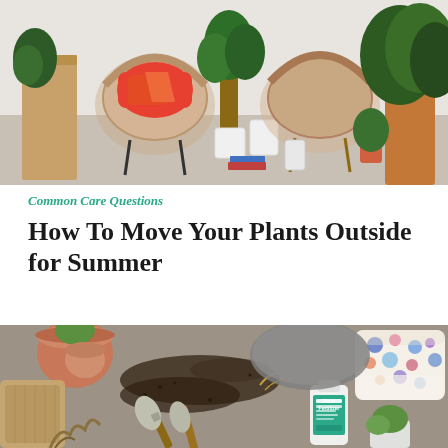[Figure (photo): Indoor patio scene with wicker chairs, colorful cushions, and multiple potted plants on a light grey floor against a white wall]
Common Care Questions
How To Move Your Plants Outside for Summer
[Figure (photo): Overhead flat-lay of gardening tools including trowels, plant fertilizer bottle, floral gardening gloves, terracotta pots, soil, dried plant material on a grey concrete surface]